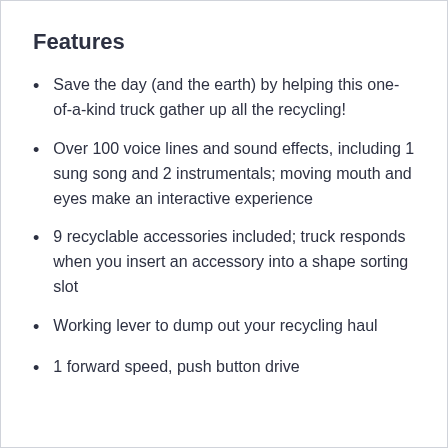Features
Save the day (and the earth) by helping this one-of-a-kind truck gather up all the recycling!
Over 100 voice lines and sound effects, including 1 sung song and 2 instrumentals; moving mouth and eyes make an interactive experience
9 recyclable accessories included; truck responds when you insert an accessory into a shape sorting slot
Working lever to dump out your recycling haul
1 forward speed, push button drive